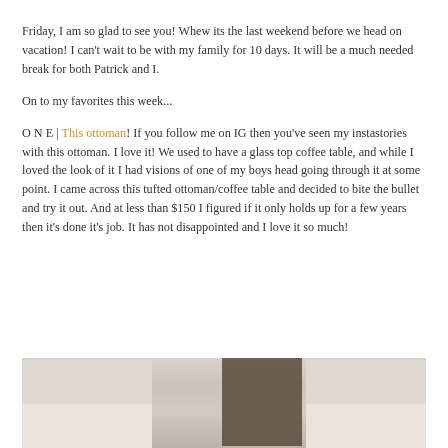Friday, I am so glad to see you! Whew its the last weekend before we head on vacation! I can't wait to be with my family for 10 days. It will be a much needed break for both Patrick and I.
On to my favorites this week...
O N E | This ottoman! If you follow me on IG then you've seen my instastories with this ottoman. I love it! We used to have a glass top coffee table, and while I loved the look of it I had visions of one of my boys head going through it at some point. I came across this tufted ottoman/coffee table and decided to bite the bullet and try it out. And at less than $150 I figured if it only holds up for a few years then it's done it's job. It has not disappointed and I love it so much!
[Figure (photo): Photo showing a living room scene with a light-colored sofa/couch and a bookshelf visible in the background]